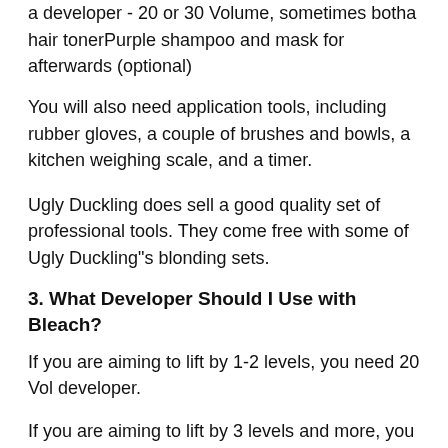a developer - 20 or 30 Volume, sometimes botha hair tonerPurple shampoo and mask for afterwards (optional)
You will also need application tools, including rubber gloves, a couple of brushes and bowls, a kitchen weighing scale, and a timer.
Ugly Duckling does sell a good quality set of professional tools. They come free with some of Ugly Duckling"s blonding sets.
3. What Developer Should I Use with Bleach?
If you are aiming to lift by 1-2 levels, you need 20 Vol developer.
If you are aiming to lift by 3 levels and more, you need 30 Vol developer.
If you are working with very dark hair, then you may need to do a first application with 30 Vol developer